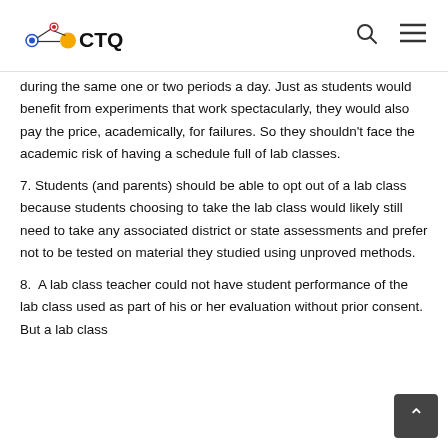CTQ [logo with search and menu icons]
during the same one or two periods a day. Just as students would benefit from experiments that work spectacularly, they would also pay the price, academically, for failures. So they shouldn't face the academic risk of having a schedule full of lab classes.
7. Students (and parents) should be able to opt out of a lab class because students choosing to take the lab class would likely still need to take any associated district or state assessments and prefer not to be tested on material they studied using unproved methods.
8.  A lab class teacher could not have student performance of the lab class used as part of his or her evaluation without prior consent. But a lab class